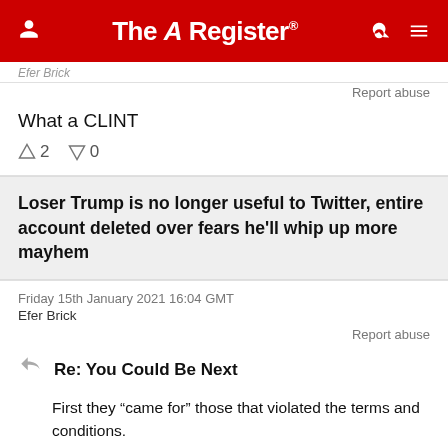The Register
Efer Brick
Report abuse
What a CLINT
↑2  ↓0
Loser Trump is no longer useful to Twitter, entire account deleted over fears he'll whip up more mayhem
Friday 15th January 2021 16:04 GMT
Efer Brick
Report abuse
Re: You Could Be Next
First they "came for" those that violated the terms and conditions.